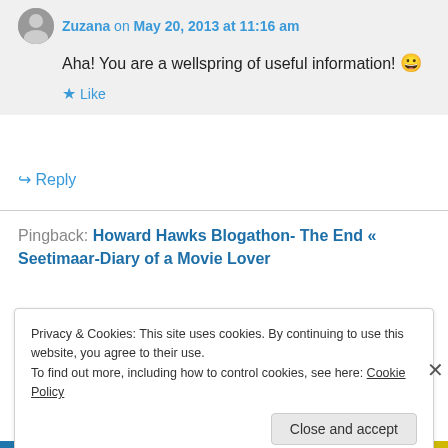Zuzana on May 20, 2013 at 11:16 am
Aha! You are a wellspring of useful information! 😀
★ Like
↪ Reply
Pingback: Howard Hawks Blogathon- The End « Seetimaar-Diary of a Movie Lover
Privacy & Cookies: This site uses cookies. By continuing to use this website, you agree to their use.
To find out more, including how to control cookies, see here: Cookie Policy
Close and accept